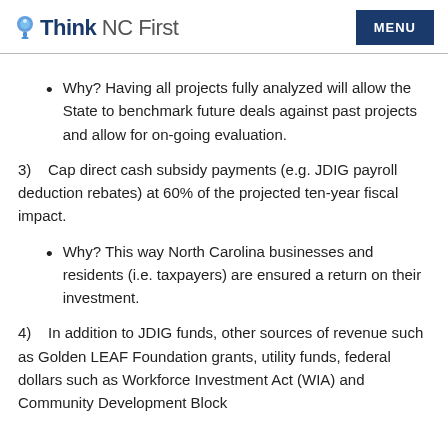Think NC First | MENU
Why? Having all projects fully analyzed will allow the State to benchmark future deals against past projects and allow for on-going evaluation.
3)    Cap direct cash subsidy payments (e.g. JDIG payroll deduction rebates) at 60% of the projected ten-year fiscal impact.
Why? This way North Carolina businesses and residents (i.e. taxpayers) are ensured a return on their investment.
4)    In addition to JDIG funds, other sources of revenue such as Golden LEAF Foundation grants, utility funds, federal dollars such as Workforce Investment Act (WIA) and Community Development Block